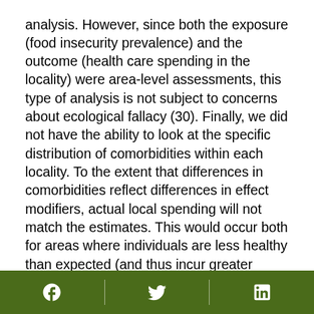analysis. However, since both the exposure (food insecurity prevalence) and the outcome (health care spending in the locality) were area-level assessments, this type of analysis is not subject to concerns about ecological fallacy (30). Finally, we did not have the ability to look at the specific distribution of comorbidities within each locality. To the extent that differences in comorbidities reflect differences in effect modifiers, actual local spending will not match the estimates. This would occur both for areas where individuals are less healthy than expected (and thus incur greater costs) and areas where individuals are healthier than expected (and correspondingly have lower health care costs).
Our study also has strengths. We used a nationally representative, longitudinal data set to estimate the
Social media icons: Facebook, Twitter, LinkedIn